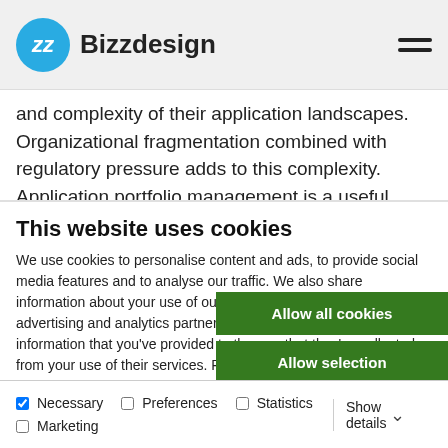Bizzdesign
and complexity of their application landscapes. Organizational fragmentation combined with regulatory pressure adds to this complexity. Application portfolio management is a useful
This website uses cookies
We use cookies to personalise content and ads, to provide social media features and to analyse our traffic. We also share information about your use of our site with our social media, advertising and analytics partners who may combine it with other information that you've provided to them or that they've collected from your use of their services. Please refer to our Privacy Policy for more information.
Allow all cookies
Allow selection
Use necessary cookies only
Necessary  Preferences  Statistics  Marketing  Show details